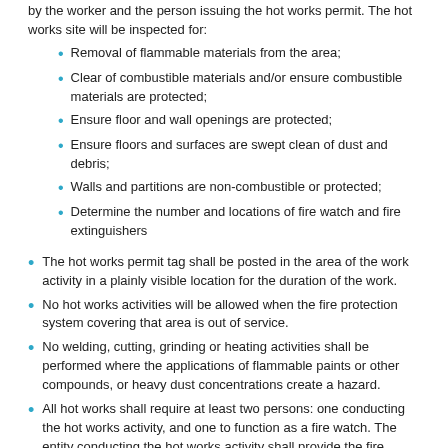by the worker and the person issuing the hot works permit. The hot works site will be inspected for:
Removal of flammable materials from the area;
Clear of combustible materials and/or ensure combustible materials are protected;
Ensure floor and wall openings are protected;
Ensure floors and surfaces are swept clean of dust and debris;
Walls and partitions are non-combustible or protected;
Determine the number and locations of fire watch and fire extinguishers
The hot works permit tag shall be posted in the area of the work activity in a plainly visible location for the duration of the work.
No hot works activities will be allowed when the fire protection system covering that area is out of service.
No welding, cutting, grinding or heating activities shall be performed where the applications of flammable paints or other compounds, or heavy dust concentrations create a hazard.
All hot works shall require at least two persons: one conducting the hot works activity, and one to function as a fire watch. The entity conducting the hot works activity shall provide the fire watch.
The fire watch shall continue for a minimum of 30 minutes (up to a